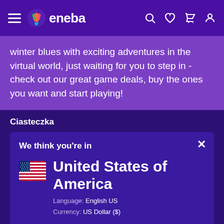eneba
winter blues with exciting adventures in the virtual world, just waiting for you to step in - check out our great game deals, buy the ones you want and start playing!
Ciasteczka
We think you're in
United States of America
Language: English US
Currency: US Dollar ($)
Would you like to see a local version of the site?
Yes